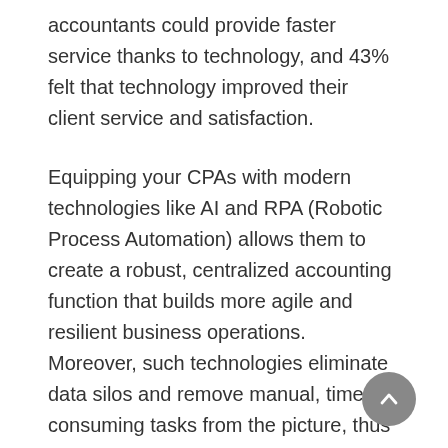accountants could provide faster service thanks to technology, and 43% felt that technology improved their client service and satisfaction.
Equipping your CPAs with modern technologies like AI and RPA (Robotic Process Automation) allows them to create a robust, centralized accounting function that builds more agile and resilient business operations. Moreover, such technologies eliminate data silos and remove manual, time-consuming tasks from the picture, thus enabling accountants to serve more clients with fewer resources (time and money), bringing business profits for CPA firms.
Moreover, accounting firms that present their employees with the opportunity to engage in more